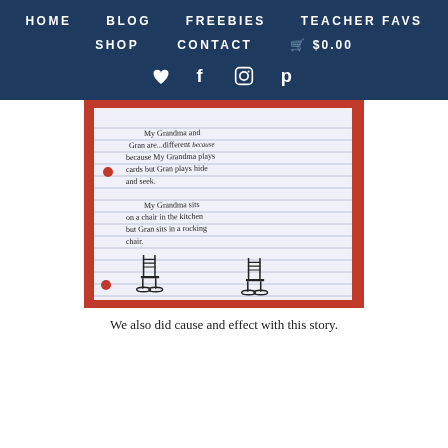HOME  BLOG  FREEBIES  TEACHER FAVS  SHOP  CONTACT  $0.00
[Figure (illustration): A child's handwritten lined paper comparing Grandma and Gran. Text reads: My Grandma and Gran are different because My Grandma plays cards but Gran plays hide and seek. My Grandma sits on a chair in the kitchen but Gran sits in a rocking chair. Below the text are two drawings of rocking chairs with a red dot (ball) near each.]
We also did cause and effect with this story.